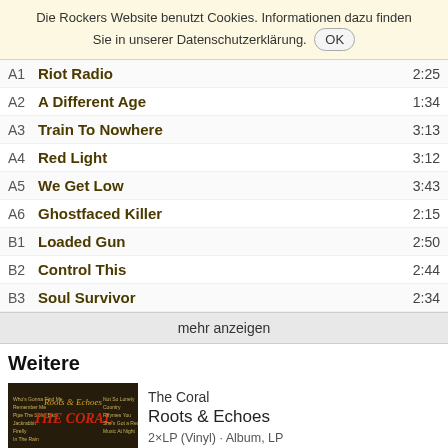Die Rockers Website benutzt Cookies. Informationen dazu finden Sie in unserer Datenschutzerklärung. OK
A1  Riot Radio  2:25
A2  A Different Age  1:34
A3  Train To Nowhere  3:13
A4  Red Light  3:12
A5  We Get Low  3:43
A6  Ghostfaced Killer  2:15
B1  Loaded Gun  2:50
B2  Control This  2:44
B3  Soul Survivor  2:34
mehr anzeigen
Weitere
[Figure (photo): Album cover of The Coral - Roots & Echoes, dark background with band members and text]
The Coral
Roots & Echoes
2×LP (Vinyl) · Album, LP
includes printed inner